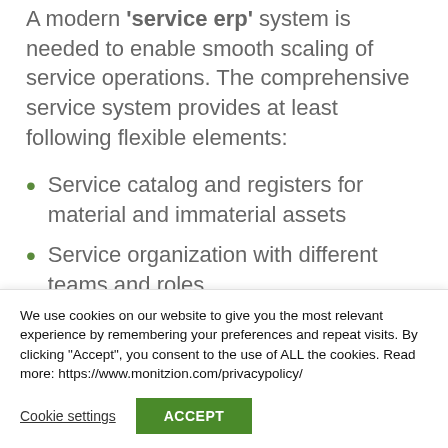A modern 'service erp' system is needed to enable smooth scaling of service operations. The comprehensive service system provides at least following flexible elements:
Service catalog and registers for material and immaterial assets
Service organization with different teams and roles
We use cookies on our website to give you the most relevant experience by remembering your preferences and repeat visits. By clicking "Accept", you consent to the use of ALL the cookies. Read more: https://www.monitzion.com/privacypolicy/